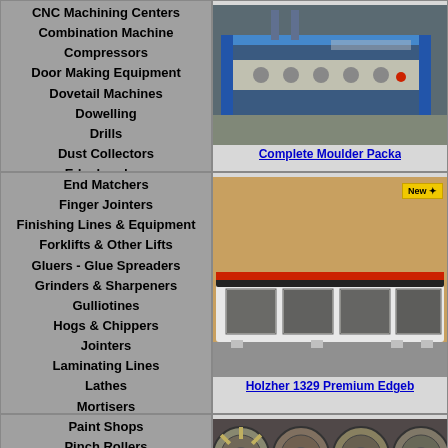CNC Machining Centers
Combination Machine
Compressors
Door Making Equipment
Dovetail Machines
Dowelling
Drills
Dust Collectors
Edgebanders
[Figure (photo): Moulder machine in a workshop setting]
Complete Moulder Packa...
End Matchers
Finger Jointers
Finishing Lines & Equipment
Forklifts & Other Lifts
Gluers - Glue Spreaders
Grinders & Sharpeners
Gulliotines
Hogs & Chippers
Jointers
Laminating Lines
Lathes
Mortisers
Moulders
Optimizers
Pallet Jacks
[Figure (photo): Holzher 1329 Premium Edgebander machine on showroom floor]
Holzher 1329 Premium Edgeb...
Paint Shops
Pinch Rollers
Planers
[Figure (photo): Close-up of woodworking machine parts/cutters]